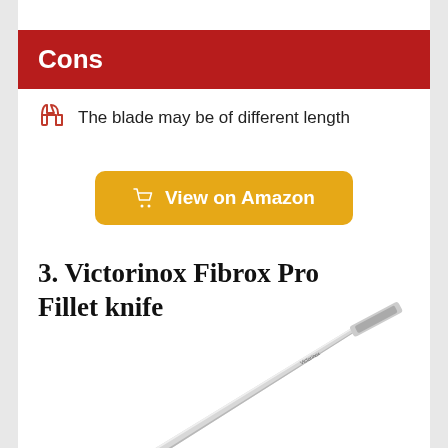Cons
The blade may be of different length
[Figure (other): Yellow 'View on Amazon' button with shopping cart icon]
3. Victorinox Fibrox Pro Fillet knife
[Figure (photo): Victorinox Fibrox Pro Fillet knife photo showing the blade diagonally from bottom-left to top-right against a white background]